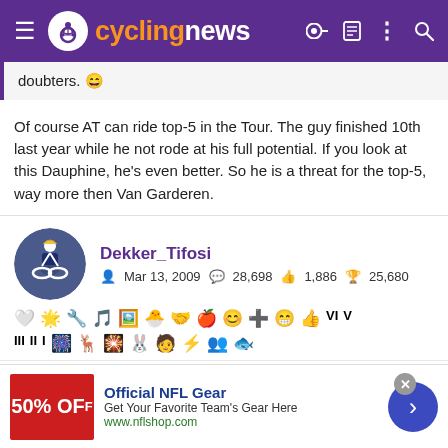cyclingnews
doubters. 😄
Of course AT can ride top-5 in the Tour. The guy finished 10th last year while he not rode at his full potential. If you look at this Dauphine, he's even better. So he is a threat for the top-5, way more then Van Garderen.
Dekker_Tifosi
Mar 13, 2009   28,698   1,886   25,680